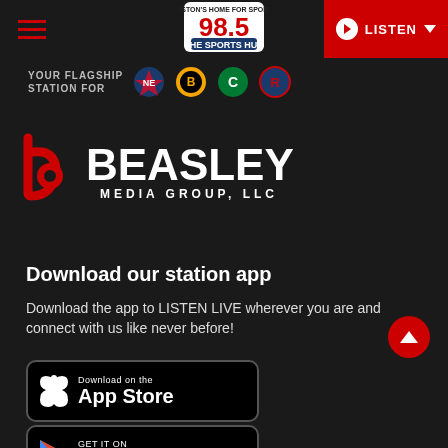98.5 The Sports Hub navigation bar with hamburger menu and LISTEN button
[Figure (logo): 98.5 The Sports Hub logo - Boston's Home for Sports]
YOUR FLAGSHIP STATION FOR [Patriots, Bruins, Celtics, Revolution logos]
[Figure (logo): Beasley Media Group, LLC logo with red 'b' icon and white BEASLEY text]
Download our station app
Download the app to LISTEN LIVE wherever you are and connect with us like never before!
[Figure (other): Download on the App Store badge]
[Figure (other): Get it on Google Play badge]